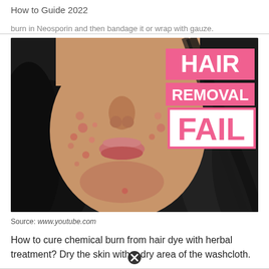How to Guide 2022
burn in Neosporin and then bandage it or wrap with gauze.
[Figure (photo): Close-up photo of a woman's face showing skin irritation and redness on cheeks and chin, with dark hair. Overlaid text in pink boxes reads 'HAIR REMOVAL FAIL'.]
Source: www.youtube.com
How to cure chemical burn from hair dye with herbal treatment? Dry the skin with a dry area of the washcloth.